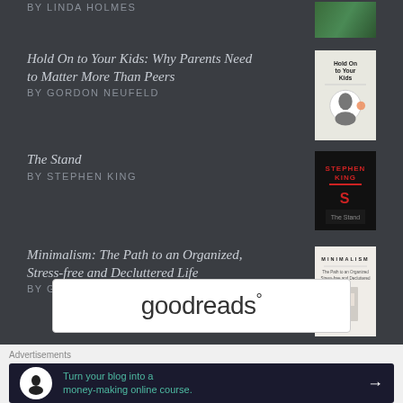BY LINDA HOLMES
Hold On to Your Kids: Why Parents Need to Matter More Than Peers
BY GORDON NEUFELD
The Stand
BY STEPHEN KING
Minimalism: The Path to an Organized, Stress-free and Decluttered Life
BY GWYNETH SNOW
[Figure (logo): Goodreads logo — white rounded rectangle with 'goodreads' text and superscript degree symbol]
[Figure (infographic): Close/dismiss button — circle with X]
Advertisements
[Figure (infographic): Ad banner: dark navy background. White circle icon with tree/person silhouette. Green teal text: 'Turn your blog into a money-making online course.' White arrow pointing right.]